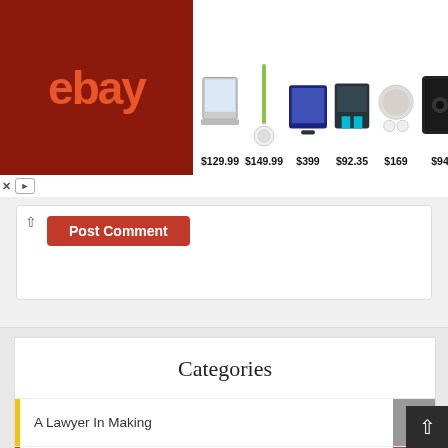[Figure (screenshot): eBay advertisement banner showing logo and products with prices: laptop $129.99, vacuum $149.99, tablet $399, tools $92.35, earbuds $169, speaker $94]
[Figure (screenshot): Post Comment button with upward arrow, red button reading Post Comment]
Categories
A Lawyer In Making  30
Be Immortal  6
Book Reviews & Releases  6
Case Study